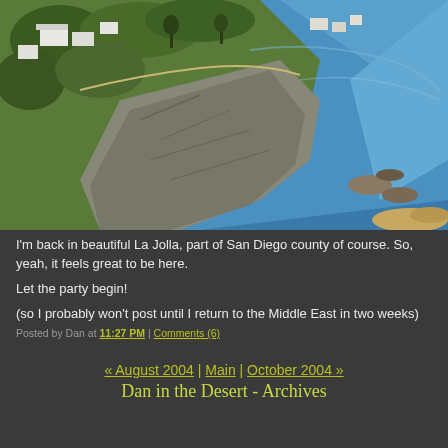[Figure (photo): Aerial photograph of coastal cliffs in La Jolla, San Diego. Green vegetation and buildings on top of tall rocky cliffs meeting the blue ocean water. A winding path visible along the clifftop.]
I'm back in beautiful La Jolla, part of San Diego county of course. So, yeah, it feels great to be here.
Let the party begin!
(so I probably won't post until I return to the Middle East in two weeks)
Posted by Dan at 11:27 PM | Comments (6)
« August 2004 | Main | October 2004 »
Dan in the Desert - Archives